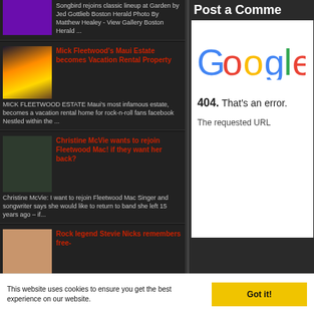Songbird rejoins classic lineup at Garden by Jed Gottlieb Boston Herald Photo By Matthew Healey - View Gallery Boston Herald ...
Mick Fleetwood's Maui Estate becomes Vacation Rental Property
MICK FLEETWOOD ESTATE Maui's most infamous estate, becomes a vacation rental home for rock-n-roll fans facebook Nestled within the ...
Christine McVie wants to rejoin Fleetwood Mac! if they want her back?
Christine McVie: I want to rejoin Fleetwood Mac Singer and songwriter says she would like to return to band she left 15 years ago – if...
Rock legend Stevie Nicks remembers free-
Post a Comme
[Figure (screenshot): Google 404 error page showing Google logo and '404. That's an error.' message with 'The requested URL' text]
This website uses cookies to ensure you get the best experience on our website.
Got it!